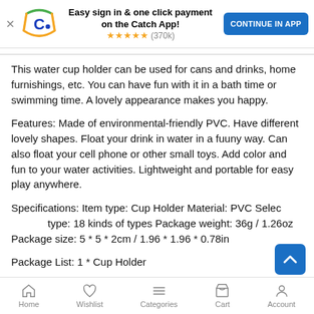[Figure (screenshot): Catch app promotional banner with logo, headline, star rating, and continue button]
This water cup holder can be used for cans and drinks, home furnishings, etc. You can have fun with it in a bath time or swimming time. A lovely appearance makes you happy.
Features: Made of environmental-friendly PVC. Have different lovely shapes. Float your drink in water in a fuuny way. Can also float your cell phone or other small toys. Add color and fun to your water activities. Lightweight and portable for easy play anywhere.
Specifications: Item type: Cup Holder Material: PVC Select type: 18 kinds of types Package weight: 36g / 1.26oz Package size: 5 * 5 * 2cm / 1.96 * 1.96 * 0.78in
Package List:  1 * Cup Holder
Home  Wishlist  Categories  Cart  Account